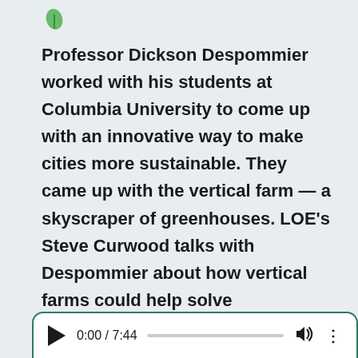[Figure (logo): Small green leaf/plant logo in top left corner]
Professor Dickson Despommier worked with his students at Columbia University to come up with an innovative way to make cities more sustainable. They came up with the vertical farm — a skyscraper of greenhouses. LOE's Steve Curwood talks with Despommier about how vertical farms could help solve environmental problems associated with agriculture.
[Figure (other): Audio player showing 0:00 / 7:44 with play button, progress bar, volume icon, and more options icon]